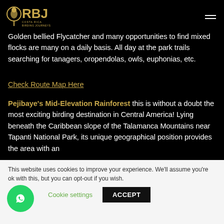Costa Rica Birding Journeys (CRBJ) logo and navigation
Golden bellied Flycatcher and many opportunities to find mixed flocks are many on a daily basis. All day at the park trails searching for tanagers, oropendolas, owls, euphonias, etc.
Check Route Map Here
Pejibaye's Mid-Elevation Rainforest this is without a doubt the most exciting birding destination in Central America! Lying beneath the Caribbean slope of the Talamanca Mountains near Tapanti National Park, its unique geographical position provides the area with an
This website uses cookies to improve your experience. We'll assume you're ok with this, but you can opt-out if you wish. Cookie settings ACCEPT